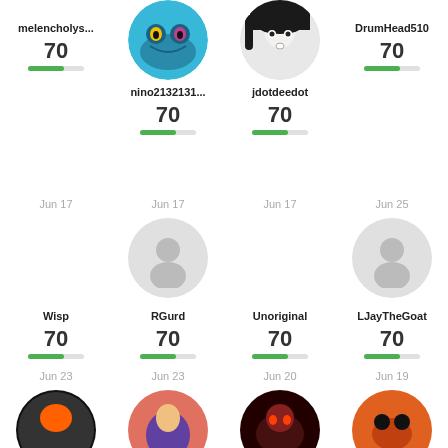[Figure (illustration): Avatar image for nino2132131 - blue creature with yellow eyes]
[Figure (illustration): Avatar image for jdotdeedot - anime girl black hair]
melencholys...
70
nino2132131...
70
jdotdeedot
70
DrumHead510
70
Jun 17
Jun 17
Jun 17
Jun 25
[Figure (illustration): Default placeholder avatar for RGurd]
[Figure (illustration): Default placeholder avatar for LJayTheGoat]
Wisp
70
RGurd
70
Unoriginal
70
LJayTheGoat
70
Jun 23
Jun 23
Jun 20
Jun 19